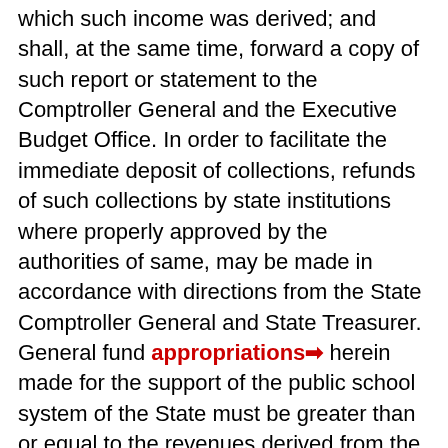which such income was derived; and shall, at the same time, forward a copy of such report or statement to the Comptroller General and the Executive Budget Office. In order to facilitate the immediate deposit of collections, refunds of such collections by state institutions where properly approved by the authorities of same, may be made in accordance with directions from the State Comptroller General and State Treasurer. General fund appropriations herein made for the support of the public school system of the State must be greater than or equal to the revenues derived from the General Retail Sales Tax, the Soft Drinks Tax, and the states portion of the Alcoholic Liquors Tax and Cable Television Fees as forecasted in the general fund revenue estimate of the Board of Economic Advisors as accounted for in the Statement of Revenues of this act. Appropriations in this act for the support of the public school system shall include the following: